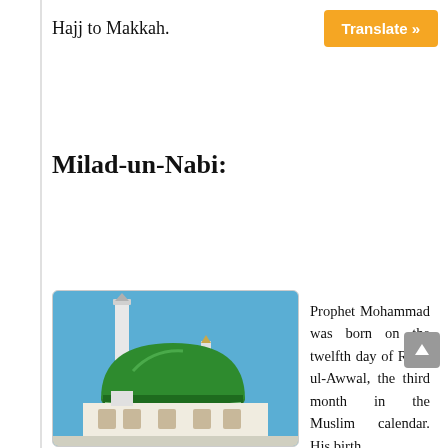Hajj to Makkah.
Translate »
Milad-un-Nabi:
[Figure (photo): Photo of the Green Dome and minaret of the Prophet's Mosque (Al-Masjid an-Nabawi) in Madinah against a blue sky.]
Prophet Mohammad was born on the twelfth day of Rabi-ul-Awwal, the third month in the Muslim calendar. His birth